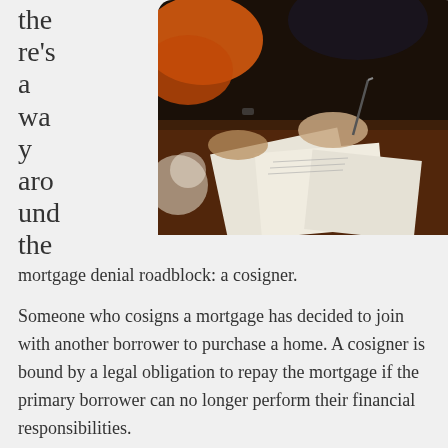there's a way around the mortgage denial roadblock: a cosigner.
[Figure (photo): Two people signing documents at a wooden table, one wearing an orange top, one in dark clothing, papers and a white floral arrangement visible]
Someone who cosigns a mortgage has decided to join with another borrower to purchase a home. A cosigner is bound by a legal obligation to repay the mortgage if the primary borrower can no longer perform their financial responsibilities.
Close family members or friends can cosign mortgages and are generally meant to assist the applicant with